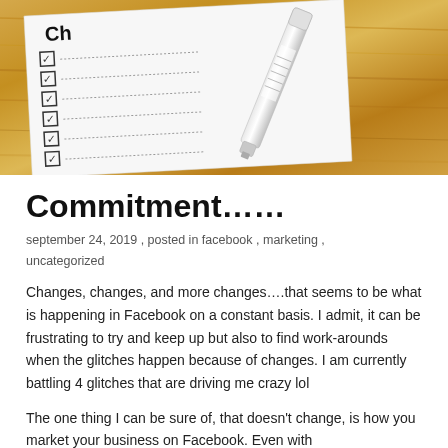[Figure (photo): Photo of a checklist on white paper with checkboxes checked, pen/marker lying on top, on a wooden table surface]
Commitment......
september 24, 2019, posted in facebook, marketing, uncategorized
Changes, changes, and more changes….that seems to be what is happening in Facebook on a constant basis. I admit, it can be frustrating to try and keep up but also to find work-arounds when the glitches happen because of changes.  I am currently battling 4 glitches that are driving me crazy lol
The one thing I can be sure of, that doesn't change, is how you market your business on Facebook.  Even with